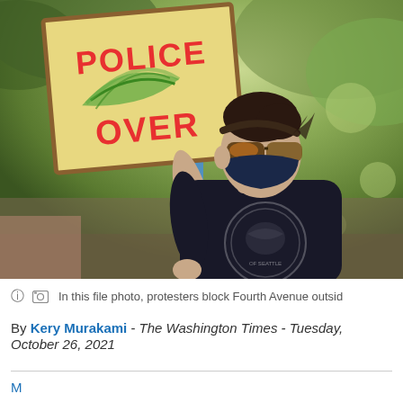[Figure (photo): A woman wearing a black face mask and sunglasses holds a protest sign reading 'POLICE OVER' with leaf decorations on a yellow background, wearing a black t-shirt, outdoors with trees in the background.]
In this file photo, protesters block Fourth Avenue outsid
By Kery Murakami - The Washington Times - Tuesday, October 26, 2021
M...